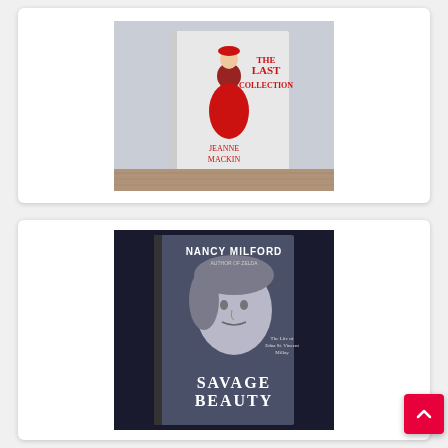[Figure (photo): Photo of the book 'The Last Collection' by Jeanne Mackin, showing a woman in a red dress in front of the Eiffel Tower on the cover, placed on a wooden surface.]
[Figure (photo): Photo of the book 'Savage Beauty' by Nancy Milford (author of Zelda), showing a black-and-white portrait of a woman on the cover, placed against a dark background.]